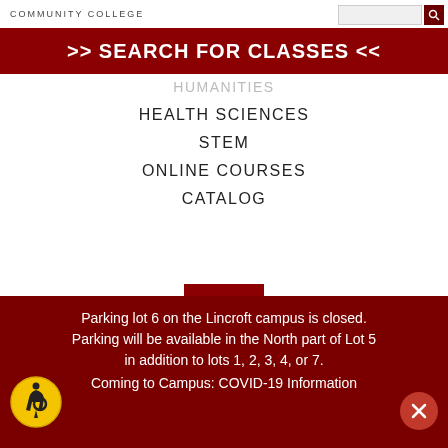COMMUNITY COLLEGE
>> SEARCH FOR CLASSES <<
HUMANITIES
HEALTH SCIENCES
STEM
ONLINE COURSES
CATALOG
[Figure (logo): Brookdale Community College shield logo with stylized white swirls on dark red background, with BROOKDALE text below]
Parking lot 6 on the Lincroft campus is closed. Parking will be available in the North part of Lot 5 in addition to lots 1, 2, 3, 4, or 7.
Coming to Campus: COVID-19 Information